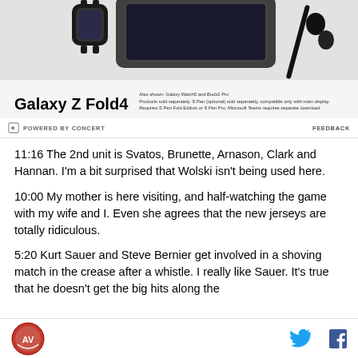[Figure (photo): Samsung Galaxy Z Fold4 advertisement banner showing phone, watch and earbuds with text 'Also shown: Galaxy Watch5 and Buds2 Pro'. Small disclaimer text below product name.]
POWERED BY CONCERT
FEEDBACK
11:16 The 2nd unit is Svatos, Brunette, Arnason, Clark and Hannan. I'm a bit surprised that Wolski isn't being used here.
10:00 My mother is here visiting, and half-watching the game with my wife and I. Even she agrees that the new jerseys are totally ridiculous.
5:20 Kurt Sauer and Steve Bernier get involved in a shoving match in the crease after a whistle. I really like Sauer. It's true that he doesn't get the big hits along the